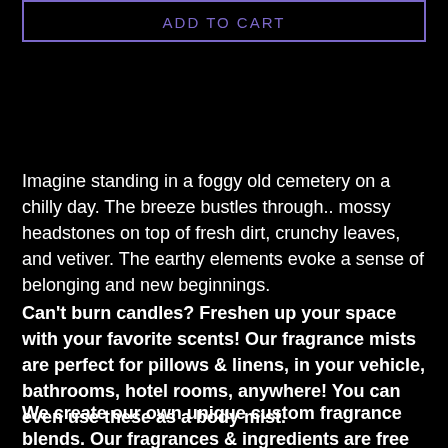ADD TO CART
Imagine standing in a foggy old cemetery on a chilly day. The breeze bustles through.. mossy headstones on top of fresh dirt, crunchy leaves, and vetiver. The earthy elements evoke a sense of belonging and new beginnings.
Can't burn candles? Freshen up your space with your favorite scents! Our fragrance mists are perfect for pillows & linens, in your vehicle, bathrooms, hotel rooms, anywhere! You can even use these as a body mist.
We create our own unique custom fragrance blends. Our fragrances & ingredients are free from harsh synthetic